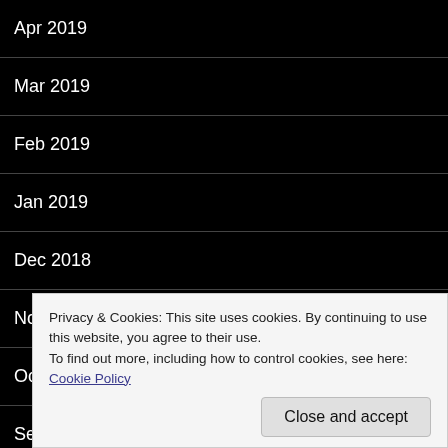Apr 2019
Mar 2019
Feb 2019
Jan 2019
Dec 2018
Nov 2018
Oct 2018
Sep 2018
Aug 2018
Privacy & Cookies: This site uses cookies. By continuing to use this website, you agree to their use.
To find out more, including how to control cookies, see here: Cookie Policy
Close and accept